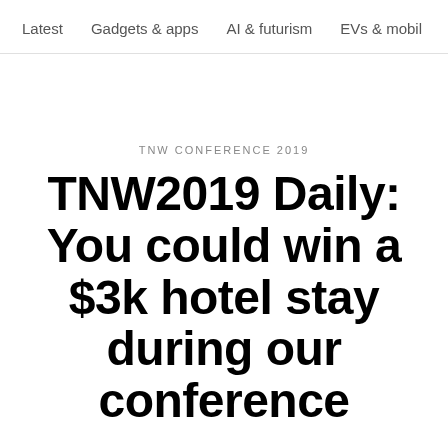Latest   Gadgets & apps   AI & futurism   EVs & mobil  >
TNW CONFERENCE 2019
TNW2019 Daily: You could win a $3k hotel stay during our conference
April 10, 2019 - 2:22 pm